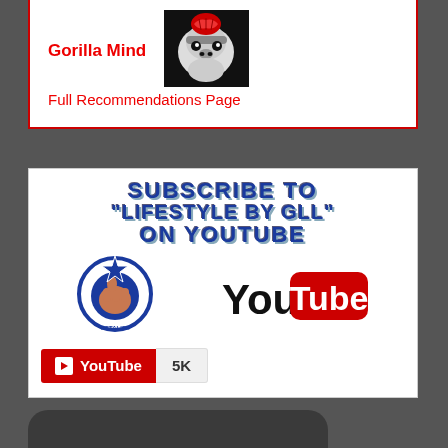Gorilla Mind
[Figure (logo): Gorilla Mind logo - gorilla face with red brain on black background]
Full Recommendations Page
[Figure (infographic): Subscribe to 'Lifestyle by GLL' on YouTube banner with GLL logo and YouTube logo]
[Figure (logo): YouTube subscribe button showing 5K subscribers]